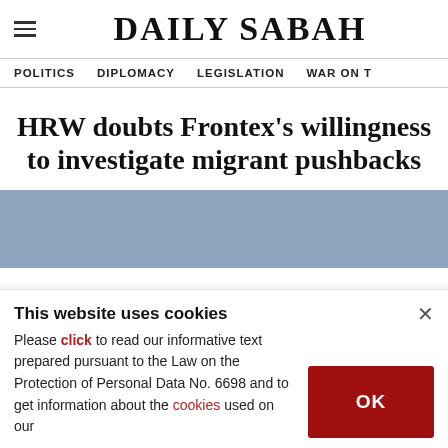DAILY SABAH
POLITICS   DIPLOMACY   LEGISLATION   WAR ON T
HRW doubts Frontex's willingness to investigate migrant pushbacks
[Figure (photo): Blue-gray horizontal image strip, partially visible photo related to article]
This website uses cookies

Please click to read our informative text prepared pursuant to the Law on the Protection of Personal Data No. 6698 and to get information about the cookies used on our